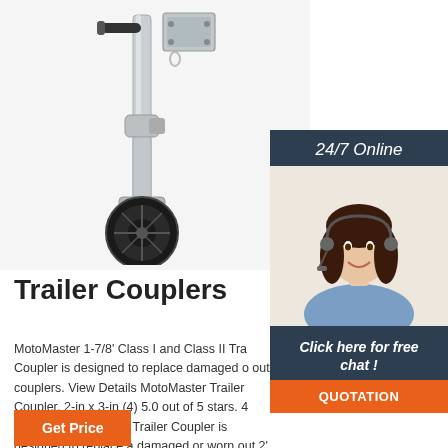[Figure (photo): Trailer jack/coupler product photo showing a metallic swivel caster jack stand with black wheel]
[Figure (photo): Customer service agent woman with headset smiling, with '24/7 Online' banner and 'Click here for free chat!' call-to-action and QUOTATION button]
Trailer Couplers
MotoMaster 1-7/8' Class I and Class II Trailer Coupler is designed to replace damaged or worn out couplers. View Details MotoMaster Trailer Coupler, 2-in x 3-in (4) 5.0 out of 5 stars. 4 reviews. MotoMaster Trailer Coupler is designed to replace a damaged or worn out 2' x 3' coupler.
Get Price